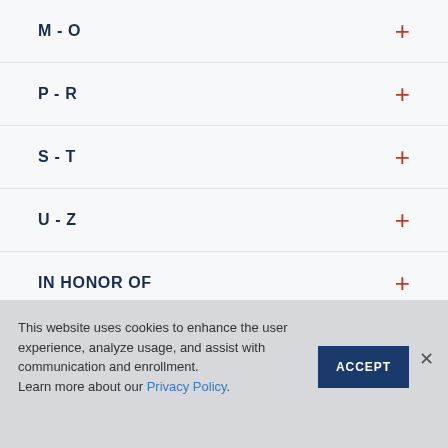M - O
P - R
S - T
U - Z
IN HONOR OF
This website uses cookies to enhance the user experience, analyze usage, and assist with communication and enrollment. Learn more about our Privacy Policy.